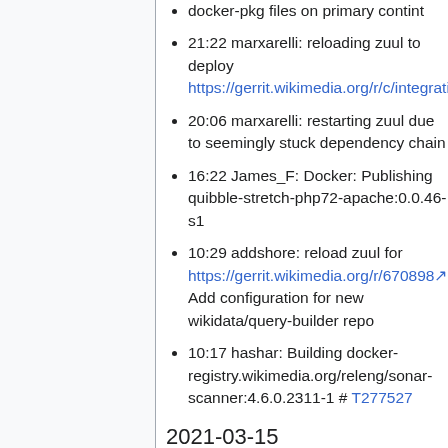docker-pkg files on primary contint
21:22 marxarelli: reloading zuul to deploy https://gerrit.wikimedia.org/r/c/integration/config/+/672792
20:06 marxarelli: restarting zuul due to seemingly stuck dependency chain
16:22 James_F: Docker: Publishing quibble-stretch-php72-apache:0.0.46-s1
10:29 addshore: reload zuul for https://gerrit.wikimedia.org/r/670898 Add configuration for new wikidata/query-builder repo
10:17 hashar: Building docker-registry.wikimedia.org/releng/sonar-scanner:4.6.0.2311-1 # T277527
2021-03-15